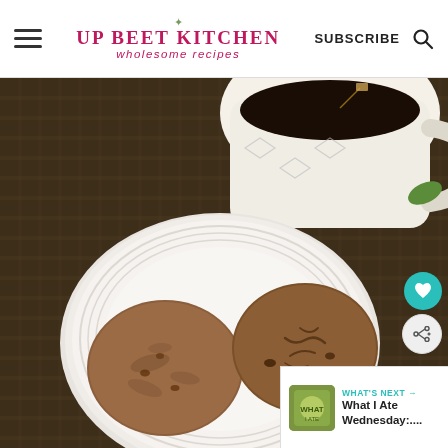UP BEET KITCHEN — wholesome recipes | SUBSCRIBE
[Figure (photo): Two round cookies on a white ridged plate on a dark woven placemat, with a white ceramic mug of dark tea in the upper right corner. Two round social overlay buttons (heart and share) on the right side. A 'What's Next' card in the bottom right corner.]
WHAT'S NEXT → What I Ate Wednesday:....